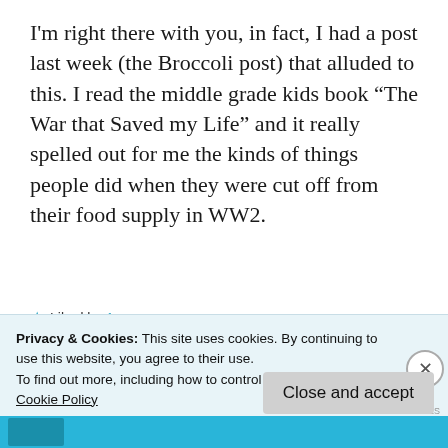I'm right there with you, in fact, I had a post last week (the Broccoli post) that alluded to this. I read the middle grade kids book “The War that Saved my Life” and it really spelled out for me the kinds of things people did when they were cut off from their food supply in WW2.
★ Liked by 1 person
Reply
Privacy & Cookies: This site uses cookies. By continuing to use this website, you agree to their use.
To find out more, including how to control cookies, see here:
Cookie Policy
Close and accept